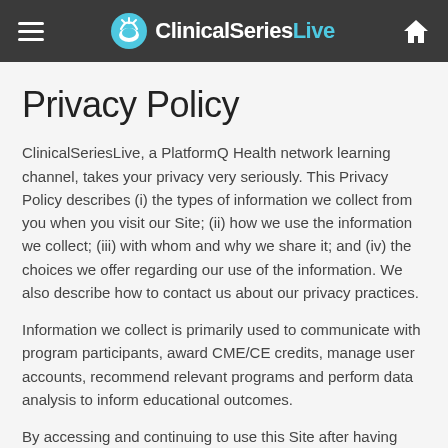ClinicalSeriesLive
Privacy Policy
ClinicalSeriesLive, a PlatformQ Health network learning channel, takes your privacy very seriously. This Privacy Policy describes (i) the types of information we collect from you when you visit our Site; (ii) how we use the information we collect; (iii) with whom and why we share it; and (iv) the choices we offer regarding our use of the information. We also describe how to contact us about our privacy practices.
Information we collect is primarily used to communicate with program participants, award CME/CE credits, manage user accounts, recommend relevant programs and perform data analysis to inform educational outcomes.
By accessing and continuing to use this Site after having